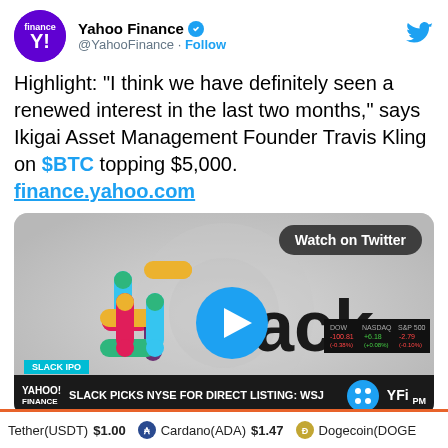[Figure (screenshot): Yahoo Finance Twitter/X profile header with avatar, name, handle, and Follow button]
Highlight: “I think we have definitely seen a renewed interest in the last two months,” says Ikigai Asset Management Founder Travis Kling on $BTC topping $5,000. finance.yahoo.com
[Figure (screenshot): Video thumbnail showing Slack logo and play button with news bar reading SLACK PICKS NYSE FOR DIRECT LISTING: WSJ]
Tether(USDT) $1.00   Cardano(ADA) $1.47   Dogecoin(DOGE